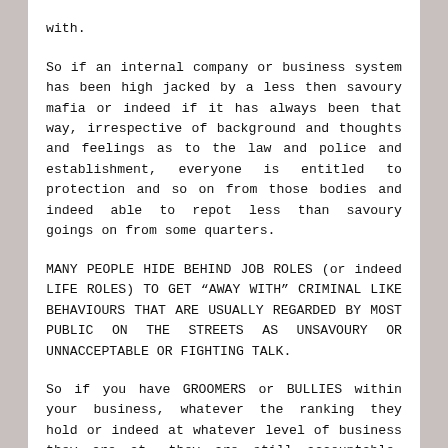with.
So if an internal company or business system has been high jacked by a less then savoury mafia or indeed if it has always been that way, irrespective of background and thoughts and feelings as to the law and police and establishment, everyone is entitled to protection and so on from those bodies and indeed able to repot less than savoury goings on from some quarters.
MANY PEOPLE HIDE BEHIND JOB ROLES (or indeed LIFE ROLES) TO GET “AWAY WITH” CRIMINAL LIKE BEHAVIOURS THAT ARE USUALLY REGARDED BY MOST PUBLIC ON THE STREETS AS UNSAVOURY OR UNNACCEPTABLE OR FIGHTING TALK.
So if you have GROOMERS or BULLIES within your business, whatever the ranking they hold or indeed at whatever level of business they are at, they are still accountable. Many of you have conventions hi...